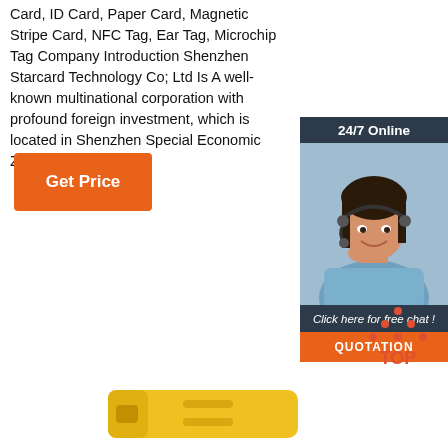Card, ID Card, Paper Card, Magnetic Stripe Card, NFC Tag, Ear Tag, Microchip Tag Company Introduction Shenzhen Starcard Technology Co; Ltd Is A well-known multinational corporation with profound foreign investment, which is located in Shenzhen Special Economic Zone in China.
Get Price
[Figure (photo): 24/7 Online customer service agent - woman with headset smiling, with 'Click here for free chat!' and QUOTATION button]
[Figure (other): TOP icon with dots forming triangle]
[Figure (photo): Yellow product item at bottom of page]